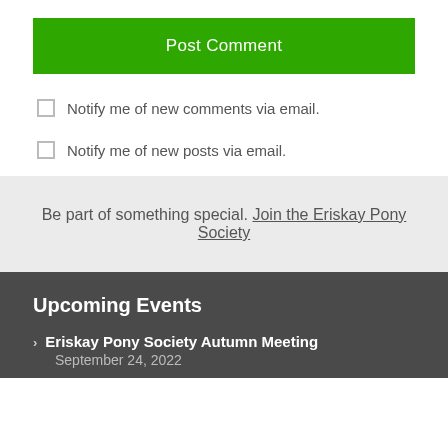Post Comment
Notify me of new comments via email.
Notify me of new posts via email.
Be part of something special. Join the Eriskay Pony Society
Upcoming Events
Eriskay Pony Society Autumn Meeting